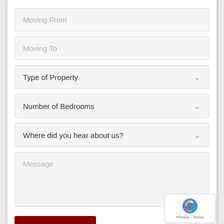Moving From
Moving To
Type of Property
Number of Bedrooms
Where did you hear about us?
Message